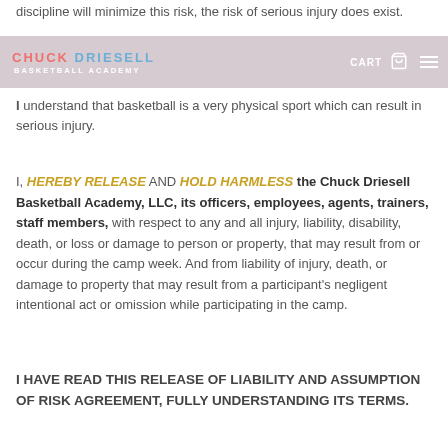discipline will minimize this risk, the risk of serious injury does exist.
[Figure (logo): Chuck Driesell Basketball Academy logo with navigation bar including CART and menu icon]
I understand that basketball is a very physical sport which can result in serious injury.
I, HEREBY RELEASE AND HOLD HARMLESS the Chuck Driesell Basketball Academy, LLC, its officers, employees, agents, trainers, staff members, with respect to any and all injury, liability, disability, death, or loss or damage to person or property, that may result from or occur during the camp week. And from liability of injury, death, or damage to property that may result from a participant’s negligent intentional act or omission while participating in the camp.
I HAVE READ THIS RELEASE OF LIABILITY AND ASSUMPTION OF RISK AGREEMENT, FULLY UNDERSTANDING ITS TERMS.